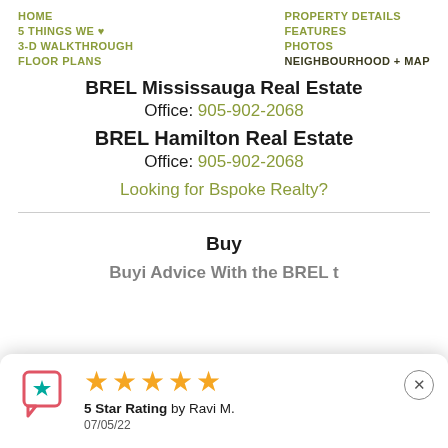HOME | PROPERTY DETAILS | 5 THINGS WE ♥ | FEATURES | 3-D WALKTHROUGH | PHOTOS | FLOOR PLANS | NEIGHBOURHOOD + MAP
BREL Mississauga Real Estate
Office: 905-902-2068
BREL Hamilton Real Estate
Office: 905-902-2068
Looking for Bspoke Realty?
Buy
5 Star Rating by Ravi M.
07/05/22